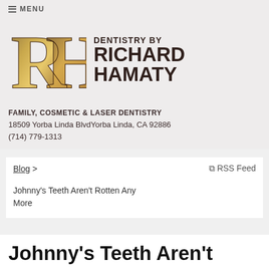≡ MENU
[Figure (logo): RH monogram logo with gold gradient lettering for Dentistry by Richard Hamaty]
DENTISTRY BY RICHARD HAMATY
FAMILY, COSMETIC & LASER DENTISTRY
18509 Yorba Linda BlvdYorba Linda, CA 92886
(714) 779-1313
Blog > RSS Feed
Johnny's Teeth Aren't Rotten Any More
Johnny's Teeth Aren't Rotten Any More